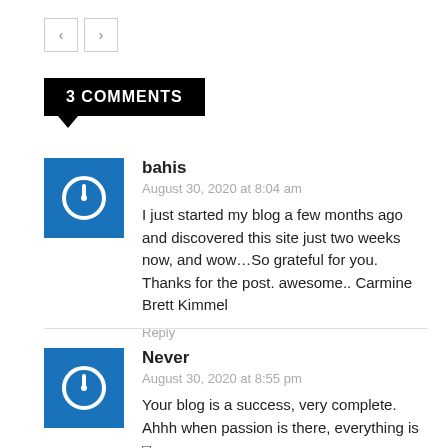[Figure (other): Navigation left/right arrow buttons]
3 COMMENTS
bahis
August 30, 2020 at 8:04 am
I just started my blog a few months ago and discovered this site just two weeks now, and wow…So grateful for you. Thanks for the post. awesome.. Carmine Brett Kimmel
Reply
Never
August 30, 2020 at 8:55 pm
Your blog is a success, very complete. Ahhh when passion is there, everything is 🙂
Brenda Giuseppe Hamil